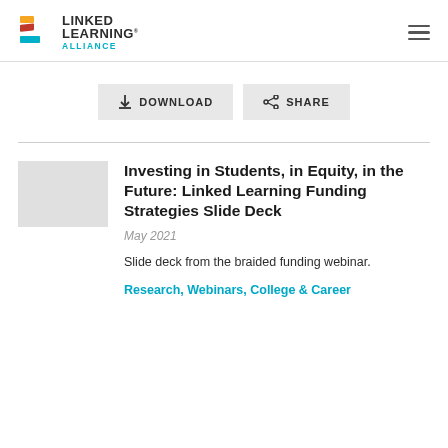LINKED LEARNING ALLIANCE
[Figure (logo): Linked Learning Alliance logo with stylized L icon in orange, red, and teal, next to bold text LINKED LEARNING ALLIANCE]
[Figure (other): Download button and Share button]
[Figure (other): Gray thumbnail placeholder image for the document]
Investing in Students, in Equity, in the Future: Linked Learning Funding Strategies Slide Deck
May 2021
Slide deck from the braided funding webinar.
Research, Webinars, College & Career